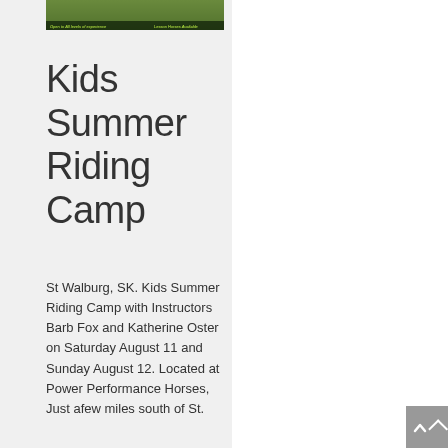[Figure (photo): Outdoor equestrian/riding scene with green background and text overlay reading 'Open to All levels of experience' and 'Lesson Horses Available']
Kids Summer Riding Camp
St Walburg, SK. Kids Summer Riding Camp with Instructors Barb Fox and Katherine Oster on Saturday August 11 and Sunday August 12. Located at Power Performance Horses, Just afew miles south of St.